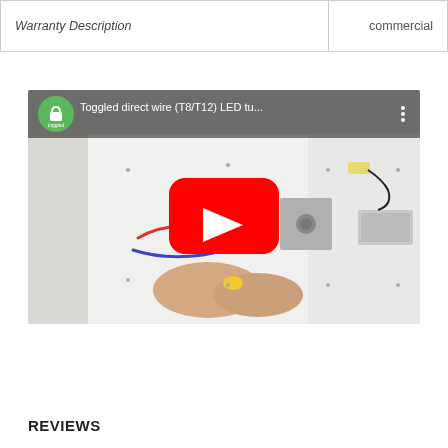| Warranty Description | commercial |
| --- | --- |
[Figure (screenshot): YouTube video thumbnail showing a person wiring LED tubes. Title reads: 'Toggled direct wire (T8/T12) LED tu...' with Toggled green logo badge and YouTube play button overlay.]
REVIEWS